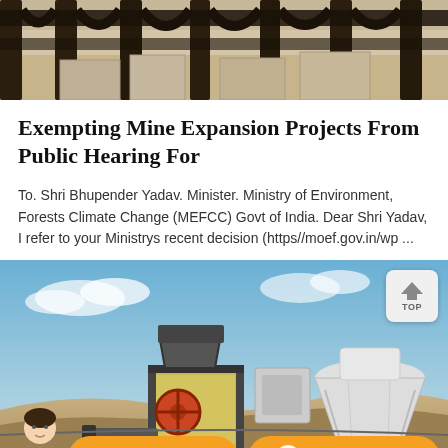[Figure (photo): Top portion showing wooden beam structure, likely a mine structure, with stone/rock background]
Exempting Mine Expansion Projects From Public Hearing For
To. Shri Bhupender Yadav. Minister. Ministry of Environment, Forests Climate Change (MEFCC) Govt of India. Dear Shri Yadav, I refer to your Ministrys recent decision (https//moef.gov.in/wp ...
[Figure (photo): Mining equipment including a jaw crusher and cone crusher against a blue sky, with rocky terrain in background. A 'TOP' navigation button visible in top right corner. Chat interface bar at bottom with 'Message' and 'Online Chat' buttons and customer service avatar.]